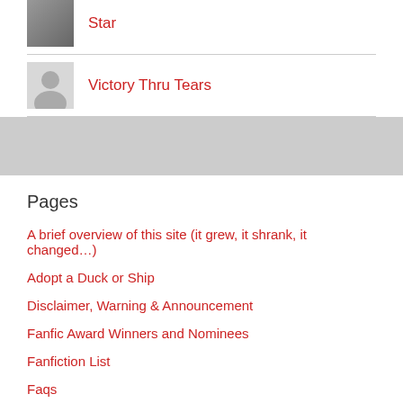Star
Victory Thru Tears
Pages
A brief overview of this site (it grew, it shrank, it changed…)
Adopt a Duck or Ship
Disclaimer, Warning & Announcement
Fanfic Award Winners and Nominees
Fanfiction List
Faqs
Queertet Fic List